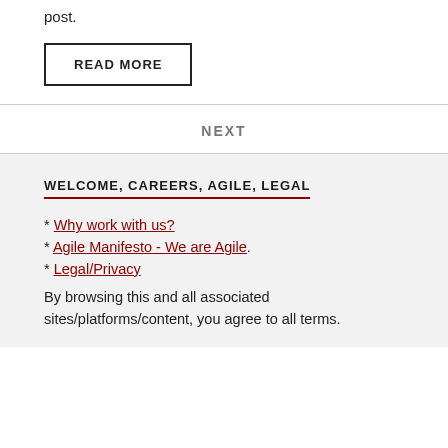post.
READ MORE
NEXT
WELCOME, CAREERS, AGILE, LEGAL
* Why work with us?
* Agile Manifesto - We are Agile.
* Legal/Privacy
By browsing this and all associated sites/platforms/content, you agree to all terms.